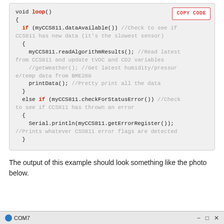[Figure (screenshot): Code block showing Arduino loop() function with CCS811 sensor data reading logic, with a 'COPY CODE' button in the top right corner.]
The output of this example should look something like the photo below.
[Figure (screenshot): Bottom bar of a serial monitor window showing COM7 label and window control buttons.]